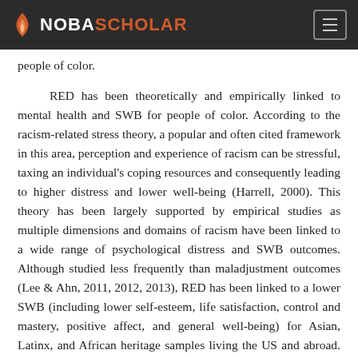NOBASCHOLAR
people of color.
RED has been theoretically and empirically linked to mental health and SWB for people of color. According to the racism-related stress theory, a popular and often cited framework in this area, perception and experience of racism can be stressful, taxing an individual's coping resources and consequently leading to higher distress and lower well-being (Harrell, 2000). This theory has been largely supported by empirical studies as multiple dimensions and domains of racism have been linked to a wide range of psychological distress and SWB outcomes. Although studied less frequently than maladjustment outcomes (Lee & Ahn, 2011, 2012, 2013), RED has been linked to a lower SWB (including lower self-esteem, life satisfaction, control and mastery, positive affect, and general well-being) for Asian, Latinx, and African heritage samples living the US and abroad. Similar results were found in one of the largest meta-analyses